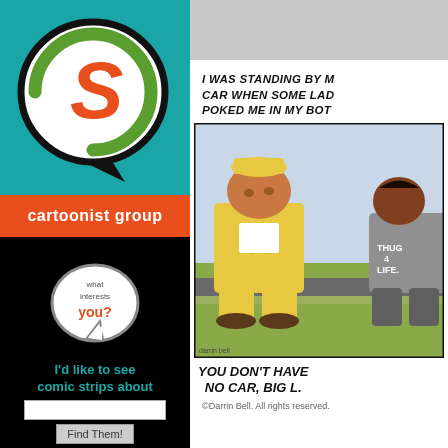[Figure (logo): Cartoonist Group logo: speech bubble with S letter in red and green circle on teal background]
cartoonist group
[Figure (infographic): Speech bubble graphic with text 'what interests you?']
I'd like to see comic strips about
Find Them!
No need to add comic strips to your keywords!
[Figure (illustration): Comic strip panel showing two characters sitting. Top speech bubble: 'I WAS STANDING BY MY CAR WHEN SOME LADY POKED ME IN MY BOT...' Bottom caption: 'YOU DON'T HAVE NO CAR, BIG L.' Character wearing yellow outfit with star badge, other character wearing shirt saying THUG 4 LIFE.]
©Darrin Bell.  All rights reserved.